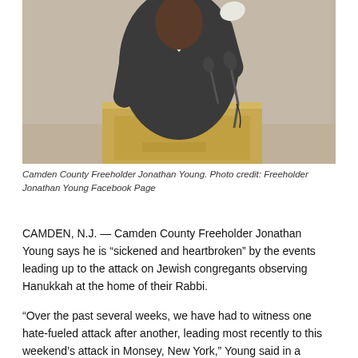[Figure (photo): Camden County Freeholder Jonathan Young at a podium with a microphone, wearing a dark blazer and white shirt, raising one hand, standing at a wooden podium in front of a light-colored wall.]
Camden County Freeholder Jonathan Young. Photo credit: Freeholder Jonathan Young Facebook Page
CAMDEN, N.J. — Camden County Freeholder Jonathan Young says he is “sickened and heartbroken” by the events leading up to the attack on Jewish congregants observing Hanukkah at the home of their Rabbi.
“Over the past several weeks, we have had to witness one hate-fueled attack after another, leading most recently to this weekend’s attack in Monsey, New York,” Young said in a prepared statement. “These incidents have left me sickened